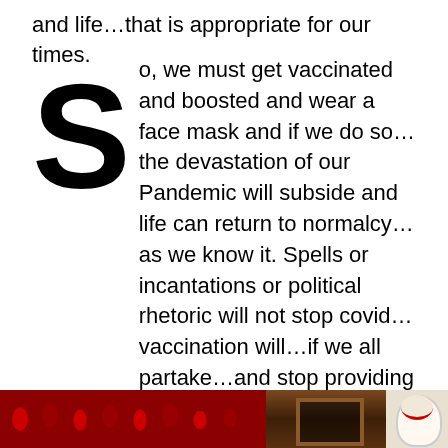and life…that is appropriate for our times.
So, we must get vaccinated and boosted and wear a face mask and if we do so…the devastation of our Pandemic will subside and life can return to normalcy…as we know it. Spells or incantations or political rhetoric will not stop covid…vaccination will…if we all partake…and stop providing a home for the Virus…
<
[Figure (photo): Three images at bottom: red roses/decorations on left, dark wooden cross/door in center, partial figure on right]